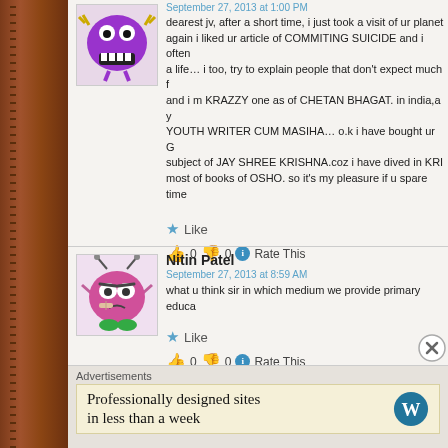[Figure (illustration): Purple monster avatar with big eyes and teeth, cartoon style]
September 27, 2013 at 1:00 PM
dearest jv, after a short time, i just took a visit of ur planet again i liked ur article of COMMITING SUICIDE and i often a life… i too, try to explain people that don't expect much f and i m KRAZZY one as of CHETAN BHAGAT. in india,a y YOUTH WRITER CUM MASIHA… o.k i have bought ur G subject of JAY SHREE KRISHNA.coz i have dived in KRI most of books of OSHO. so it's my pleasure if u spare time
Like
0  0  Rate This
Nitin Patel
September 27, 2013 at 8:59 AM
what u think sir in which medium we provide primary educa
[Figure (illustration): Pink alien monster avatar with antennae and green feet, cartoon style]
Like
0  0  Rate This
Advertisements
Professionally designed sites in less than a week